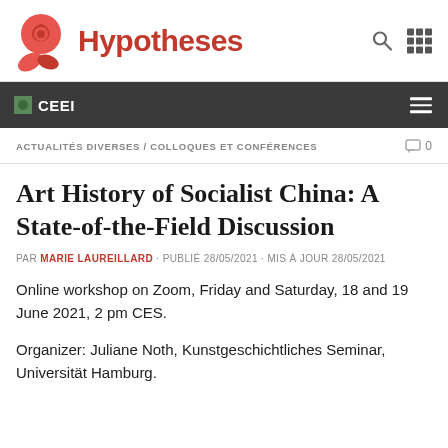[Figure (logo): Hypotheses website header logo with red flower/rose icon and red bold text 'Hypotheses', plus search and grid icons on the right]
CEEI
ACTUALITÉS DIVERSES / COLLOQUES ET CONFÉRENCES
Art History of Socialist China: A State-of-the-Field Discussion
PAR MARIE LAUREILLARD · PUBLIÉ 28/05/2021 · MIS À JOUR 28/05/2021
Online workshop on Zoom, Friday and Saturday, 18 and 19 June 2021, 2 pm CES.
Organizer: Juliane Noth, Kunstgeschichtliches Seminar, Universität Hamburg.